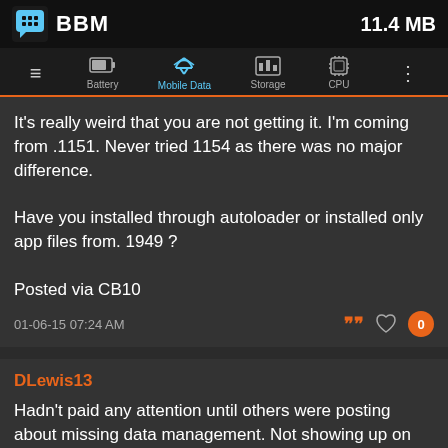[Figure (screenshot): BBM app entry showing app name, 11.4 MB size, with navigation bar showing Battery, Mobile Data, Storage, CPU tabs]
It's really weird that you are not getting it. I'm coming from .1151. Never tried 1154 as there was no major difference.

Have you installed through autoloader or installed only app files from. 1949 ?

Posted via CB10
01-06-15 07:24 AM
DLewis13
Hadn't paid any attention until others were posting about missing data management. Not showing up on my Z30 with 10.3.1.1949 either.